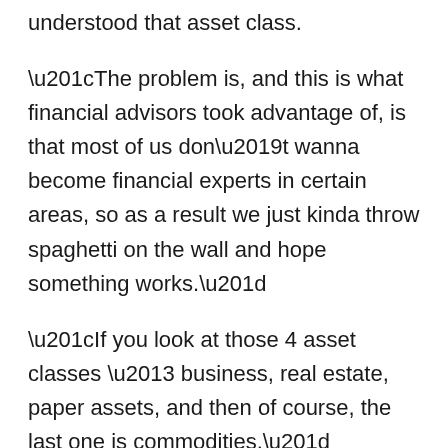understood that asset class.
“The problem is, and this is what financial advisors took advantage of, is that most of us don’t wanna become financial experts in certain areas, so as a result we just kinda throw spaghetti on the wall and hope something works.”
“If you look at those 4 asset classes – business, real estate, paper assets, and then of course, the last one is commodities.”
“Really, everything that a financial advisor offers you is a paper asset.” “He goes in